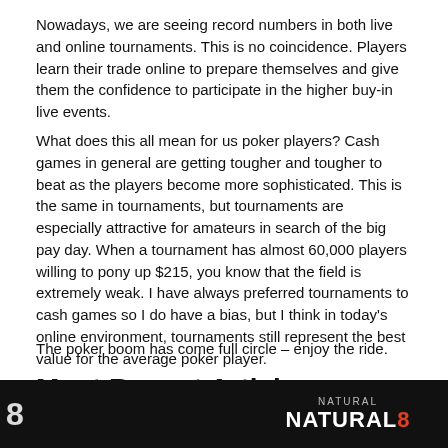Nowadays, we are seeing record numbers in both live and online tournaments. This is no coincidence. Players learn their trade online to prepare themselves and give them the confidence to participate in the higher buy-in live events.
What does this all mean for us poker players? Cash games in general are getting tougher and tougher to beat as the players become more sophisticated. This is the same in tournaments, but tournaments are especially attractive for amateurs in search of the big pay day. When a tournament has almost 60,000 players willing to pony up $215, you know that the field is extremely weak. I have always preferred tournaments to cash games so I do have a bias, but I think in today’s online environment, tournaments still represent the best value for the average poker player.
The poker boom has come full circle – enjoy the ride.
Most Recent Articles
[Figure (photo): Dark image showing partial text '8' on left side]
[Figure (photo): Dark image showing Natural8 logo with red 8]